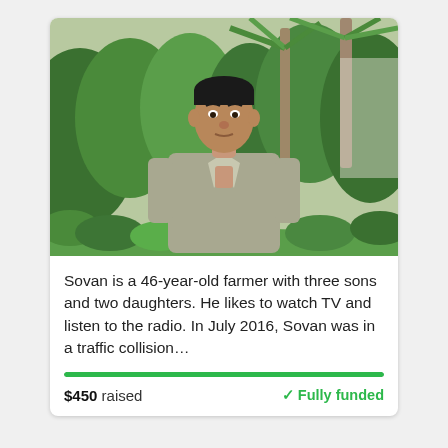[Figure (photo): A middle-aged man wearing a loose grey/olive button-up shirt, standing outdoors in front of lush green tropical vegetation and palm trees. He is looking directly at the camera.]
Sovan is a 46-year-old farmer with three sons and two daughters. He likes to watch TV and listen to the radio. In July 2016, Sovan was in a traffic collision…
$450 raised
✓Fully funded